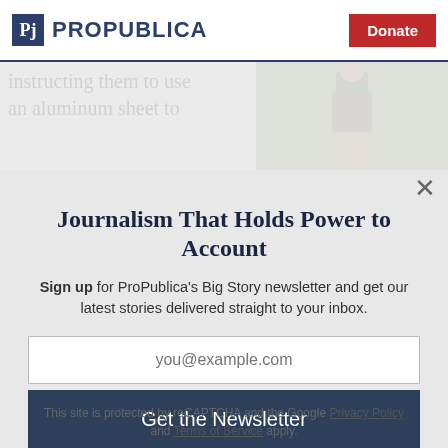ProPublica | Donate
instructing them to use an aluminum sheet to
[Figure (photo): Photo of a person wearing a plaid shirt and khaki pants, standing outdoors on grass]
Journalism That Holds Power to Account
Sign up for ProPublica's Big Story newsletter and get our latest stories delivered straight to your inbox.
you@example.com
Get the Newsletter
No thanks, I'm all set
This site is protected by reCAPTCHA and the Google Privacy Policy and Terms of Service apply.